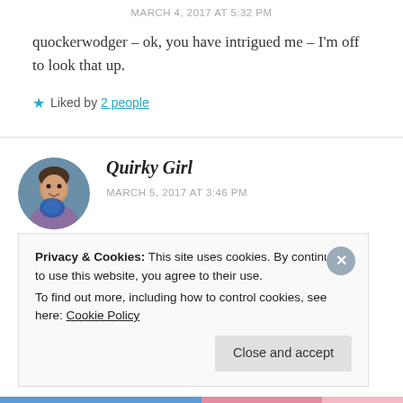MARCH 4, 2017 AT 5:32 PM
quockerwodger – ok, you have intrigued me – I'm off to look that up.
★ Liked by 2 people
[Figure (photo): Circular avatar photo of Quirky Girl, a woman smiling with a blue-tinted background]
Quirky Girl
MARCH 5, 2017 AT 3:46 PM
Privacy & Cookies: This site uses cookies. By continuing to use this website, you agree to their use.
To find out more, including how to control cookies, see here: Cookie Policy